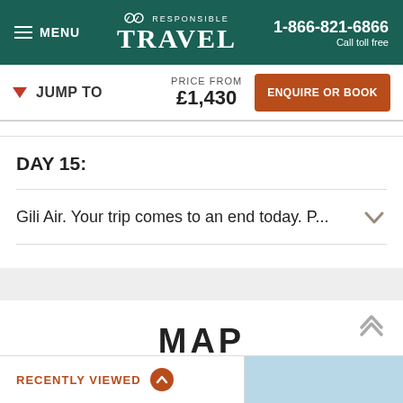MENU | RESPONSIBLE TRAVEL | 1-866-821-6866 Call toll free
JUMP TO | PRICE FROM £1,430 | ENQUIRE OR BOOK
DAY 15:
Gili Air. Your trip comes to an end today. P...
MAP
RECENTLY VIEWED